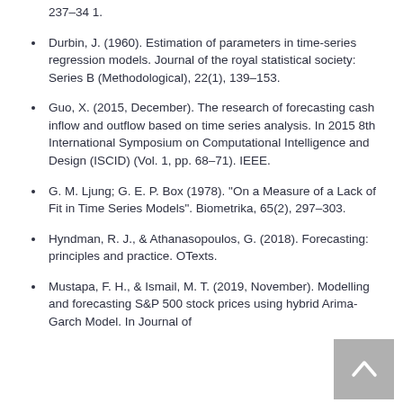Durbin, J. (1960). Estimation of parameters in time-series regression models. Journal of the royal statistical society: Series B (Methodological), 22(1), 139–153.
Guo, X. (2015, December). The research of forecasting cash inflow and outflow based on time series analysis. In 2015 8th International Symposium on Computational Intelligence and Design (ISCID) (Vol. 1, pp. 68–71). IEEE.
G. M. Ljung; G. E. P. Box (1978). "On a Measure of a Lack of Fit in Time Series Models". Biometrika, 65(2), 297–303.
Hyndman, R. J., & Athanasopoulos, G. (2018). Forecasting: principles and practice. OTexts.
Mustapa, F. H., & Ismail, M. T. (2019, November). Modelling and forecasting S&P 500 stock prices using hybrid Arima-Garch Model. In Journal of